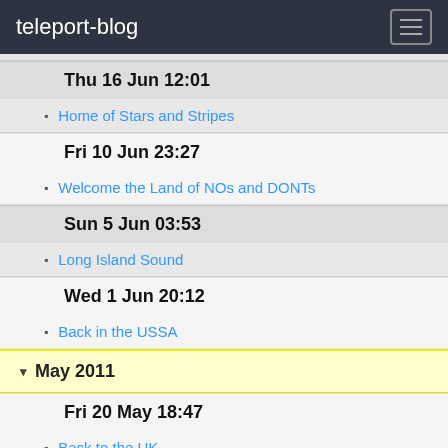teleport-blog
Thu 16 Jun 12:01
Home of Stars and Stripes
Fri 10 Jun 23:27
Welcome the Land of NOs and DONTs
Sun 5 Jun 03:53
Long Island Sound
Wed 1 Jun 20:12
Back in the USSA
May 2011
Fri 20 May 18:47
Back to the UK
Apr 2011
Fri 29 Apr 21:00
Checking in NY